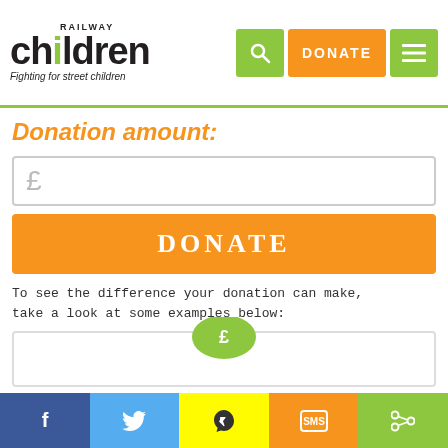Railway Children - Fighting for street children
Donation amount:
[Figure (screenshot): Currency input field with pound sign placeholder]
[Figure (screenshot): Orange DONATE button]
To see the difference your donation can make, take a look at some examples below:
[Figure (screenshot): Card/icon area with green circular icon]
We use cookies to give you the best experience and to help improve our website
Social sharing bar: Facebook, Twitter, Snapchat, SMS, Share